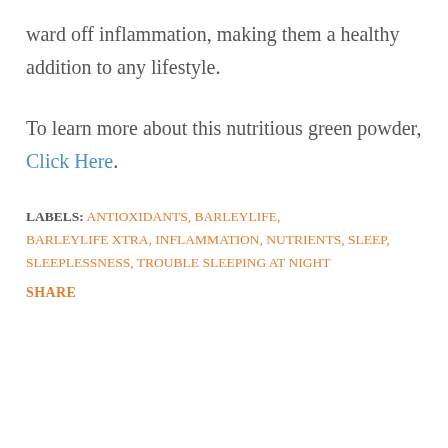ward off inflammation, making them a healthy addition to any lifestyle.
To learn more about this nutritious green powder, Click Here.
LABELS: ANTIOXIDANTS, BARLEYLIFE, BARLEYLIFE XTRA, INFLAMMATION, NUTRIENTS, SLEEP, SLEEPLESSNESS, TROUBLE SLEEPING AT NIGHT
SHARE